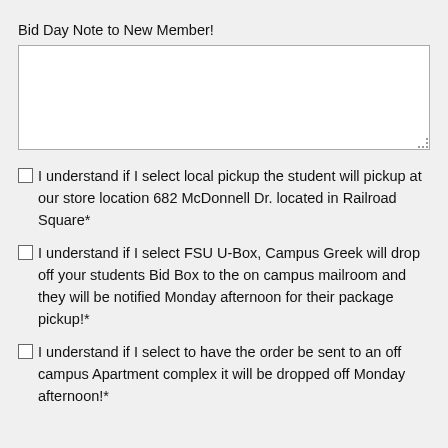Bid Day Note to New Member!
I understand if I select local pickup the student will pickup at our store location 682 McDonnell Dr. located in Railroad Square*
I understand if I select FSU U-Box, Campus Greek will drop off your students Bid Box to the on campus mailroom and they will be notified Monday afternoon for their package pickup!*
I understand if I select to have the order be sent to an off campus Apartment complex it will be dropped off Monday afternoon!*